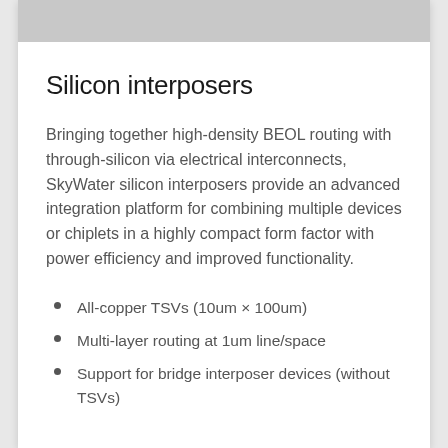[Figure (photo): Partial photo of a silicon interposer or chip component, cropped at top of page]
Silicon interposers
Bringing together high-density BEOL routing with through-silicon via electrical interconnects, SkyWater silicon interposers provide an advanced integration platform for combining multiple devices or chiplets in a highly compact form factor with power efficiency and improved functionality.
All-copper TSVs (10um × 100um)
Multi-layer routing at 1um line/space
Support for bridge interposer devices (without TSVs)